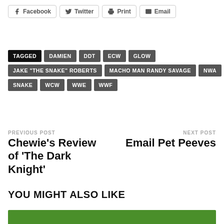Facebook | Twitter | Print | Email
TAGGED | DAMIEN | DDT | ECW | GLOW | JAKE "THE SNAKE" ROBERTS | MACHO MAN RANDY SAVAGE | NWA | SNAKE | WCW | WWE | WWF
PREVIOUS POST: Chewie's Review of ‘The Dark Knight’
NEXT POST: Email Pet Peeves
YOU MIGHT ALSO LIKE
[Figure (photo): Bottom green image strip]